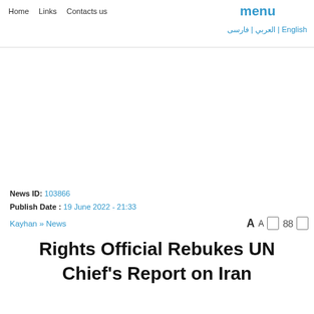Home   Links   Contacts us   menu   English | العربي | فارسی
News ID: 103866
Publish Date : 19 June 2022 - 21:33
Kayhan » News
Rights Official Rebukes UN Chief's Report on Iran